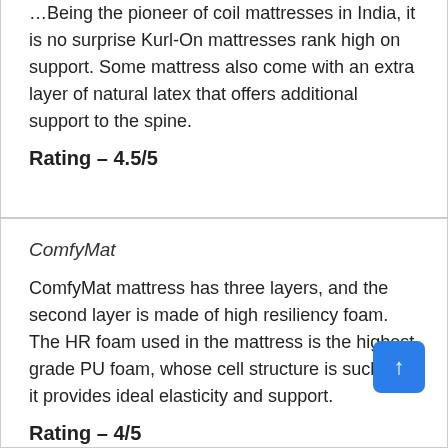Being the pioneer of coil mattresses in India, it is no surprise Kurl-On mattresses rank high on support. Some mattress also come with an extra layer of natural latex that offers additional support to the spine.
Rating – 4.5/5
ComfyMat
ComfyMat mattress has three layers, and the second layer is made of high resiliency foam. The HR foam used in the mattress is the highest grade PU foam, whose cell structure is such that it provides ideal elasticity and support.
Rating – 4/5